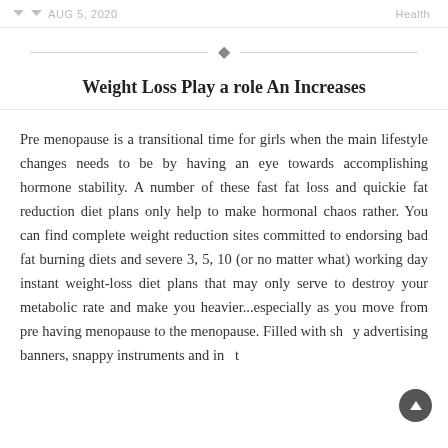AUG 5, 2020  Health
Weight Loss Play a role An Increases
Pre menopause is a transitional time for girls when the main lifestyle changes needs to be by having an eye towards accomplishing hormone stability. A number of these fast fat loss and quickie fat reduction diet plans only help to make hormonal chaos rather. You can find complete weight reduction sites committed to endorsing bad fat burning diets and severe 3, 5, 10 (or no matter what) working day instant weight-loss diet plans that may only serve to destroy your metabolic rate and make you heavier...especially as you move from pre having menopause to the menopause. Filled with showy advertising banners, snappy instruments and in fact